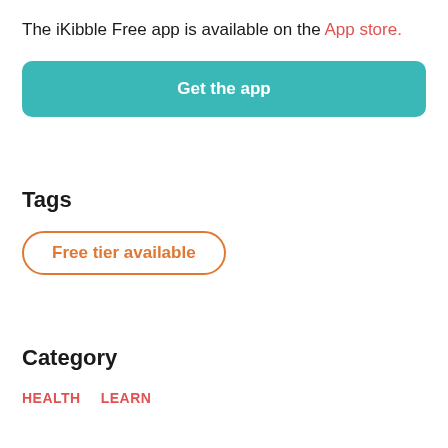The iKibble Free app is available on the App store.
[Figure (other): Teal rounded button with white bold text 'Get the app']
Tags
Free tier available
Category
HEALTH
LEARN